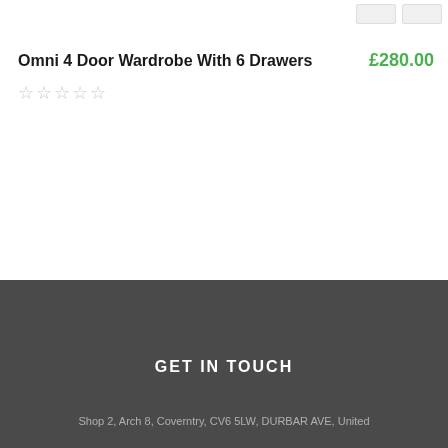Omni 4 Door Wardrobe With 6 Drawers
£280.00
☆☆☆☆☆
GET IN TOUCH
Shop 2, Arch 8, Coverntry, CV6 5LW, DURBAR AVE, United